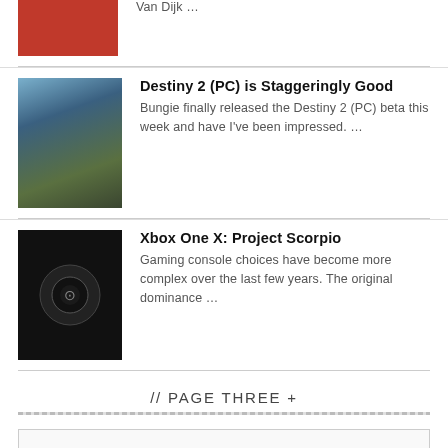Van Dijk …
[Figure (photo): Sports photo of players in red jerseys]
Destiny 2 (PC) is Staggeringly Good
Bungie finally released the Destiny 2 (PC) beta this week and have I've been impressed. …
[Figure (photo): Destiny 2 game artwork with sci-fi landscape]
Xbox One X: Project Scorpio
Gaming console choices have become more complex over the last few years. The original dominance …
[Figure (photo): Xbox One controller on black background]
// PAGE THREE +
Select Month